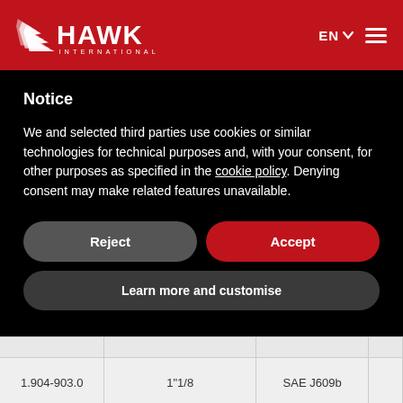[Figure (logo): Hawk International logo on red header background with white stylized bird and HAWK text, EN language selector, and hamburger menu icon]
Notice
We and selected third parties use cookies or similar technologies for technical purposes and, with your consent, for other purposes as specified in the cookie policy. Denying consent may make related features unavailable.
Reject | Accept | Learn more and customise
|  |  |  |  |
| --- | --- | --- | --- |
|  |  |  |  |
| 1.904-903.0 | 1"1/8 | SAE J609b |  |